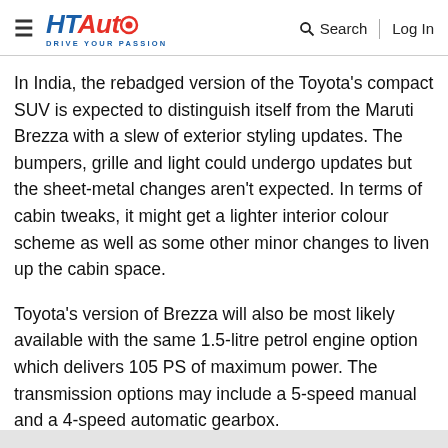HT Auto - DRIVE YOUR PASSION | Search | Log In
In India, the rebadged version of the Toyota's compact SUV is expected to distinguish itself from the Maruti Brezza with a slew of exterior styling updates. The bumpers, grille and light could undergo updates but the sheet-metal changes aren't expected. In terms of cabin tweaks, it might get a lighter interior colour scheme as well as some other minor changes to liven up the cabin space.
Toyota's version of Brezza will also be most likely available with the same 1.5-litre petrol engine option which delivers 105 PS of maximum power. The transmission options may include a 5-speed manual and a 4-speed automatic gearbox.
Commenting on the foray into the compact SUV segment, Naveen Soni, Senior Vice President, Sales and Services at